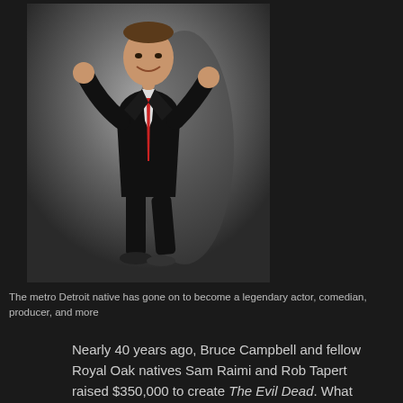[Figure (photo): Full-body photo of a man in a black suit with a red pocket square, posing with hands raised in a stylized gesture against a grey gradient background]
The metro Detroit native has gone on to become a legendary actor, comedian, producer, and more
Nearly 40 years ago, Bruce Campbell and fellow Royal Oak natives Sam Raimi and Rob Tapert raised $350,000 to create The Evil Dead. What began as a low-budget film Campbell starred in and co-executive produced turned into an international sensation. It was dubbed by